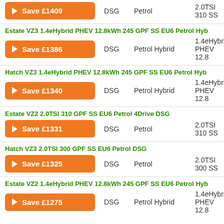Save £1409 | DSG | Petrol | 2.0TSI 310 SS
Estate VZ3 1.4eHybrid PHEV 12.8kWh 245 GPF SS EU6 Petrol Hybrid
Save £1386 | DSG | Petrol Hybrid | 1.4eHybrid PHEV 12.8
Hatch VZ3 1.4eHybrid PHEV 12.8kWh 245 GPF SS EU6 Petrol Hybrid
Save £1340 | DSG | Petrol Hybrid | 1.4eHybrid PHEV 12.8
Estate VZ2 2.0TSI 310 GPF SS EU6 Petrol 4Drive DSG
Save £1331 | DSG | Petrol | 2.0TSI 310 SS
Hatch VZ3 2.0TSI 300 GPF SS EU6 Petrol DSG
Save £1325 | DSG | Petrol | 2.0TSI 300 SS
Estate VZ2 1.4eHybrid PHEV 12.8kWh 245 GPF SS EU6 Petrol Hybrid
Save £1275 | DSG | Petrol Hybrid | 1.4eHybrid PHEV 12.8